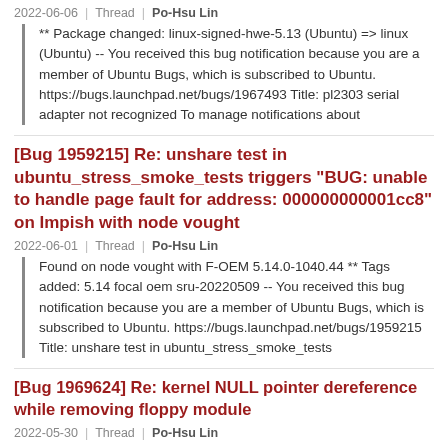2022-06-06 | Thread | Po-Hsu Lin
** Package changed: linux-signed-hwe-5.13 (Ubuntu) => linux (Ubuntu) -- You received this bug notification because you are a member of Ubuntu Bugs, which is subscribed to Ubuntu. https://bugs.launchpad.net/bugs/1967493 Title: pl2303 serial adapter not recognized To manage notifications about
[Bug 1959215] Re: unshare test in ubuntu_stress_smoke_tests triggers "BUG: unable to handle page fault for address: 000000000001cc8" on Impish with node vought
2022-06-01 | Thread | Po-Hsu Lin
Found on node vought with F-OEM 5.14.0-1040.44 ** Tags added: 5.14 focal oem sru-20220509 -- You received this bug notification because you are a member of Ubuntu Bugs, which is subscribed to Ubuntu. https://bugs.launchpad.net/bugs/1959215 Title: unshare test in ubuntu_stress_smoke_tests
[Bug 1969624] Re: kernel NULL pointer dereference while removing floppy module
2022-05-30 | Thread | Po-Hsu Lin